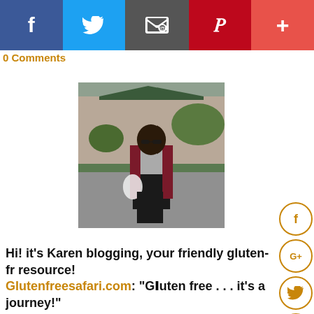[Figure (screenshot): Social sharing bar with Facebook (blue), Twitter (light blue), Email (gray), Pinterest (red), and more (+) (salmon/red) buttons]
0 Comments
[Figure (photo): Photo of a woman with curly dark hair, wearing sunglasses, a gray top, dark pants, and a dark red/maroon cardigan, carrying a white bag, standing outside near a building and trees.]
[Figure (infographic): Side social media icons: Facebook (f), Google+ (G+), Twitter bird, Pinterest (P), Blogger (B), YouTube - all in orange circle outlines]
Hi! it's Karen blogging, your friendly gluten-fr resource! Glutenfreesafari.com: "Gluten free . . . it's a journey!"